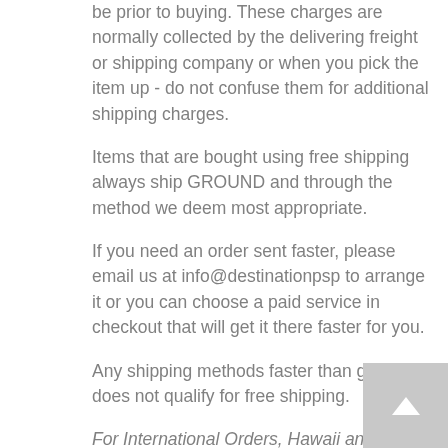be prior to buying. These charges are normally collected by the delivering freight or shipping company or when you pick the item up - do not confuse them for additional shipping charges.
Items that are bought using free shipping always ship GROUND and through the method we deem most appropriate.
If you need an order sent faster, please email us at info@destinationpsp to arrange it or you can choose a paid service in checkout that will get it there faster for you.
Any shipping methods faster than ground does not qualify for free shipping.
For International Orders, Hawaii and Alaska (i.e If the shipping address is OUTSIDE OF THE USA or in Alaska or Hawaii), use Calculated Shipping